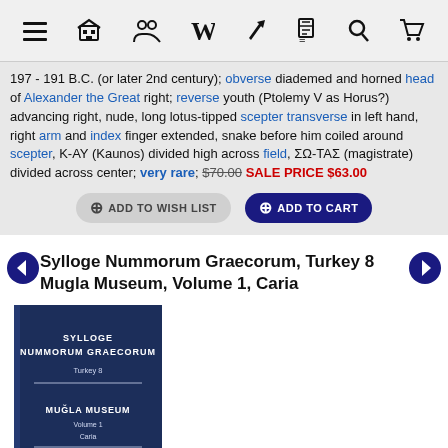Navigation bar with menu, home, users, Wikipedia, link, document, search, cart icons
197 - 191 B.C. (or later 2nd century); obverse diademed and horned head of Alexander the Great right; reverse youth (Ptolemy V as Horus?) advancing right, nude, long lotus-tipped scepter transverse in left hand, right arm and index finger extended, snake before him coiled around scepter, K-AY (Kaunos) divided high across field, ΣΩ-ΤΑΣ (magistrate) divided across center; very rare; $70.00 SALE PRICE $63.00
ADD TO WISH LIST | ADD TO CART
Sylloge Nummorum Graecorum, Turkey 8 Mugla Museum, Volume 1, Caria
[Figure (photo): Book cover of Sylloge Nummorum Graecorum, Turkey 8, Mugla Museum, Volume 1, Caria — dark navy blue hardcover book with white text and an emblem at the bottom]